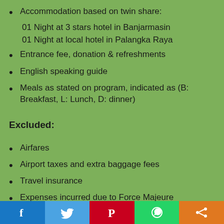Accommodation based on twin share:
01 Night at 3 stars hotel in Banjarmasin
01 Night at local hotel in Palangka Raya
Entrance fee, donation & refreshments
English speaking guide
Meals as stated on program, indicated as (B: Breakfast, L: Lunch, D: dinner)
Excluded:
Airfares
Airport taxes and extra baggage fees
Travel insurance
Expenses incurred due to Force Majeure
[Figure (infographic): Social media sharing bar with Facebook, Twitter, Pinterest, WhatsApp, and Share buttons]